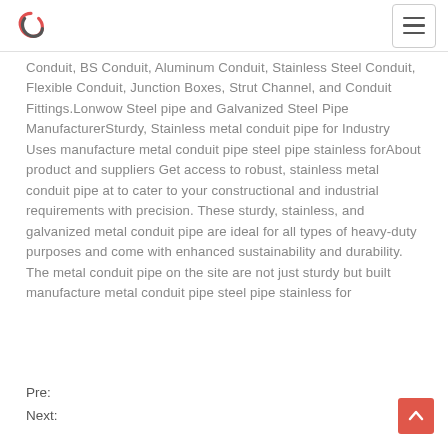Logo and navigation menu
Conduit, BS Conduit, Aluminum Conduit, Stainless Steel Conduit, Flexible Conduit, Junction Boxes, Strut Channel, and Conduit Fittings.Lonwow Steel pipe and Galvanized Steel Pipe ManufacturerSturdy, Stainless metal conduit pipe for Industry Uses manufacture metal conduit pipe steel pipe stainless forAbout product and suppliers Get access to robust, stainless metal conduit pipe at to cater to your constructional and industrial requirements with precision. These sturdy, stainless, and galvanized metal conduit pipe are ideal for all types of heavy-duty purposes and come with enhanced sustainability and durability. The metal conduit pipe on the site are not just sturdy but built manufacture metal conduit pipe steel pipe stainless for
Pre:
Next: